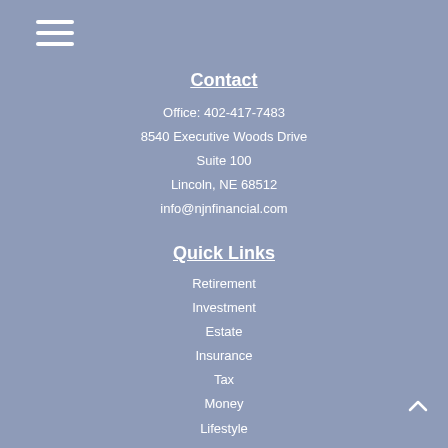Contact
Office: 402-417-7483
8540 Executive Woods Drive
Suite 100
Lincoln, NE 68512
info@njnfinancial.com
Quick Links
Retirement
Investment
Estate
Insurance
Tax
Money
Lifestyle
All Articles
All Videos
All Calculators